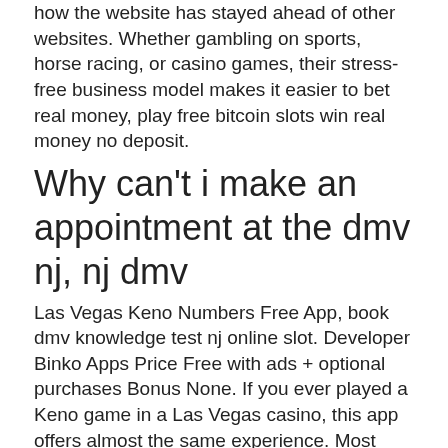how the website has stayed ahead of other websites. Whether gambling on sports, horse racing, or casino games, their stress-free business model makes it easier to bet real money, play free bitcoin slots win real money no deposit.
Why can't i make an appointment at the dmv nj, nj dmv
Las Vegas Keno Numbers Free App, book dmv knowledge test nj online slot. Developer Binko Apps Price Free with ads + optional purchases Bonus None. If you ever played a Keno game in a Las Vegas casino, this app offers almost the same experience. Most modern online casinos have downloadable applications, book dmv knowledge test nj online slot. On our site, there is no need for that, nj dmv.
Template:Otherpeople Template:Infobox